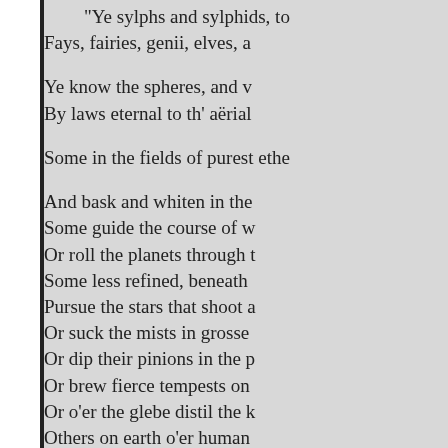"Ye sylphs and sylphids, to... Fays, fairies, genii, elves, a...

Ye know the spheres, and v... By laws eternal to th' aërial...

Some in the fields of purest ethe...

And bask and whiten in the... Some guide the course of w... Or roll the planets through t... Some less refined, beneath... Pursue the stars that shoot a... Or suck the mists in grosse... Or dip their pinions in the p... Or brew fierce tempests on... Or o'er the glebe distil the k... Others on earth o'er human... Watch all their ways, and al... Of these the chief the care o... And guard with arms divine... "Our humbler province is... Not a less pleasing, though... To save the powder from to...